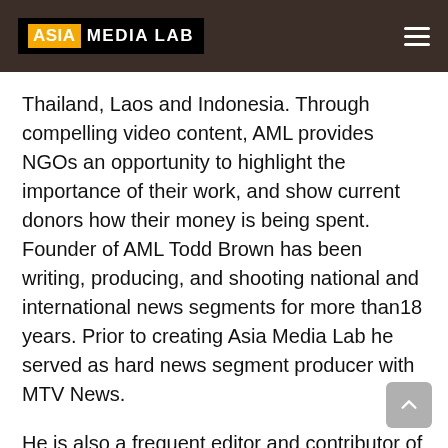ASIA MEDIA LAB
Thailand, Laos and Indonesia. Through compelling video content, AML provides NGOs an opportunity to highlight the importance of their work, and show current donors how their money is being spent. Founder of AML Todd Brown has been writing, producing, and shooting national and international news segments for more than18 years. Prior to creating Asia Media Lab he served as hard news segment producer with MTV News.
He is also a frequent editor and contributor of international segments for Current TV, and an established documentary photographer who has exhibited his work at several esteemed galleries throughout the Los Angeles area and Phnom Penh. Todd received his Masters in History of International Relations from the London